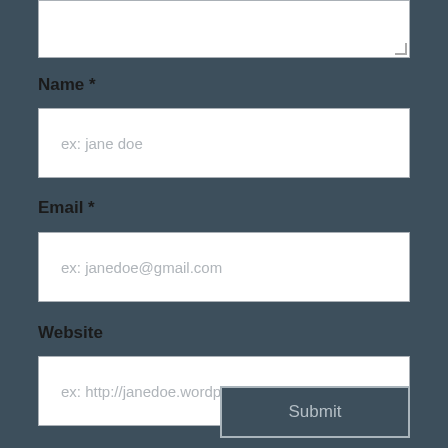[Figure (screenshot): Partial text area input field (top of page, cropped) with resize handle in bottom-right corner]
Name *
[Figure (screenshot): Text input field with placeholder text 'ex: jane doe']
Email *
[Figure (screenshot): Text input field with placeholder text 'ex: janedoe@gmail.com']
Website
[Figure (screenshot): Text input field with placeholder text 'ex: http://janedoe.wordpress.com']
Submit